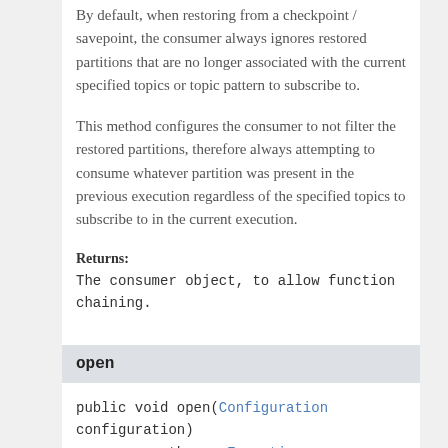By default, when restoring from a checkpoint / savepoint, the consumer always ignores restored partitions that are no longer associated with the current specified topics or topic pattern to subscribe to.
This method configures the consumer to not filter the restored partitions, therefore always attempting to consume whatever partition was present in the previous execution regardless of the specified topics to subscribe to in the current execution.
Returns:
The consumer object, to allow function chaining.
open
public void open(Configuration configuration)
           throws Exception
Description copied from